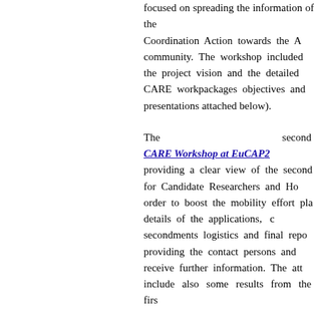focused on spreading the information of the Coordination Action towards the academic community. The workshop included presentations on the project vision and the detailed description of the CARE workpackages objectives and deliverables (see presentations attached below).
The second CARE Workshop at EuCAPT2... providing a clear view of the secondment opportunities for Candidate Researchers and Host Institutions, in order to boost the mobility effort planned; reviewing details of the applications, current status of the secondments logistics and final reports' requirements; providing the contact persons and information on how to receive further information. The attachments will include also some results from the first year.
The third CARE Workshop at EuC... will celebrate the final event of the project in a New Member State. In this Final Workshops, the CARE secondees will present the results of their research and willl also celebrate the collaboration among the Institutions on specific technologies and sub-systems.